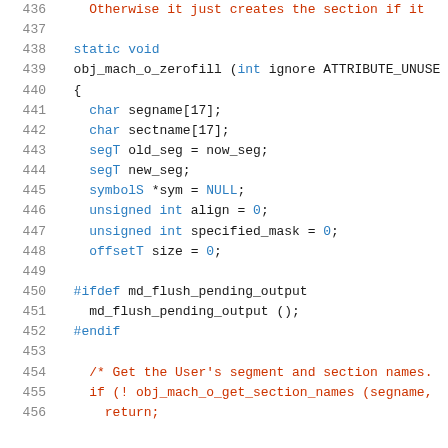436    Otherwise it just creates the section if it
437
438    static void
439    obj_mach_o_zerofill (int ignore ATTRIBUTE_UNUSE
440    {
441      char segname[17];
442      char sectname[17];
443      segT old_seg = now_seg;
444      segT new_seg;
445      symbolS *sym = NULL;
446      unsigned int align = 0;
447      unsigned int specified_mask = 0;
448      offsetT size = 0;
449
450    #ifdef md_flush_pending_output
451      md_flush_pending_output ();
452    #endif
453
454      /* Get the User's segment and section names.
455      if (! obj_mach_o_get_section_names (segname,
456        return;